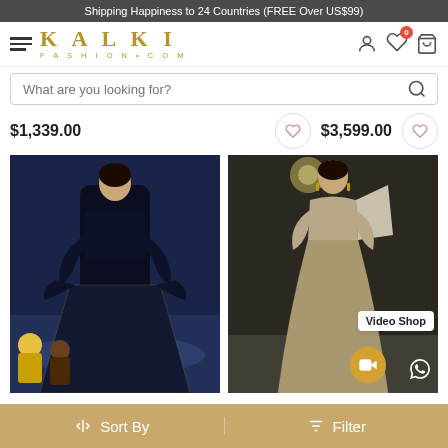Shipping Happiness to 24 Countries (FREE Over US$99)
[Figure (logo): Kalki Fashion.com logo with hamburger menu]
What are you looking for?
$1,339.00   $3,599.00
[Figure (photo): Model in dark navy blue lehenga on fashion runway]
[Figure (photo): Model in golden/beige lehenga on fashion runway with Video Shop and WhatsApp icons]
Sort By    Filter